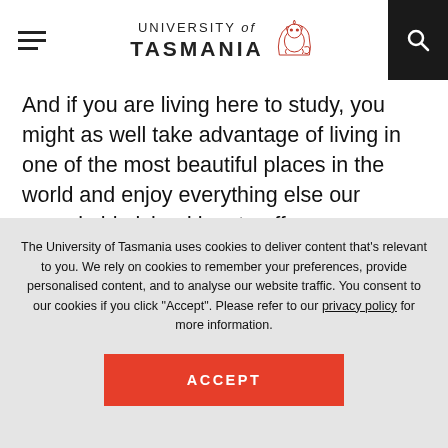University of Tasmania
And if you are living here to study, you might as well take advantage of living in one of the most beautiful places in the world and enjoy everything else our remarkable island has to offer.
[Figure (illustration): Large decorative number '20' partially visible at bottom of content area]
The University of Tasmania uses cookies to deliver content that's relevant to you. We rely on cookies to remember your preferences, provide personalised content, and to analyse our website traffic. You consent to our cookies if you click "Accept". Please refer to our privacy policy for more information.
ACCEPT